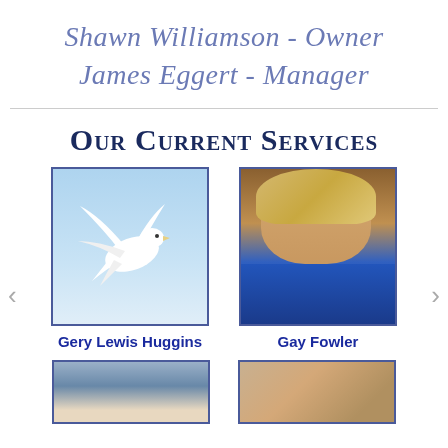Shawn Williamson - Owner
James Eggert - Manager
Our Current Services
[Figure (photo): White dove in flight against a blue sky]
Gery Lewis Huggins
[Figure (photo): Portrait of an elderly smiling woman with blonde hair wearing blue]
Gay Fowler
[Figure (photo): Partial view of a man portrait, bottom of page]
[Figure (photo): Partial view of a person portrait, bottom of page]